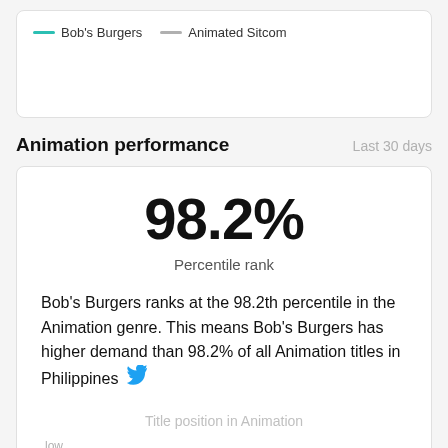[Figure (other): Legend showing two line types: teal line for Bob's Burgers and gray line for Animated Sitcom]
Animation performance
Last 30 days
98.2%
Percentile rank
Bob's Burgers ranks at the 98.2th percentile in the Animation genre. This means Bob's Burgers has higher demand than 98.2% of all Animation titles in Philippines
Title position in Animation
low